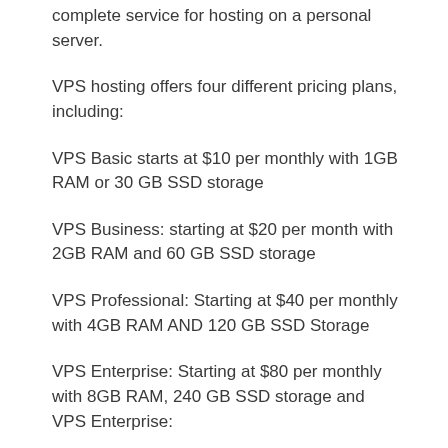complete service for hosting on a personal server.
VPS hosting offers four different pricing plans, including:
VPS Basic starts at $10 per monthly with 1GB RAM or 30 GB SSD storage
VPS Business: starting at $20 per month with 2GB RAM and 60 GB SSD storage
VPS Professional: Starting at $40 per monthly with 4GB RAM AND 120 GB SSD Storage
VPS Enterprise: Starting at $80 per monthly with 8GB RAM, 240 GB SSD storage and VPS Enterprise: